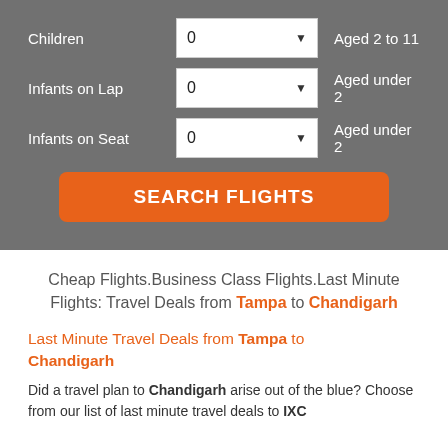[Figure (screenshot): Flight search form UI with gray background showing three dropdown rows for Children (Aged 2 to 11), Infants on Lap (Aged under 2), and Infants on Seat (Aged under 2), each showing 0, followed by an orange SEARCH FLIGHTS button.]
Cheap Flights.Business Class Flights.Last Minute Flights: Travel Deals from Tampa to Chandigarh
Last Minute Travel Deals from Tampa to Chandigarh
Did a travel plan to Chandigarh arise out of the blue? Choose from our list of last minute travel deals to IXC